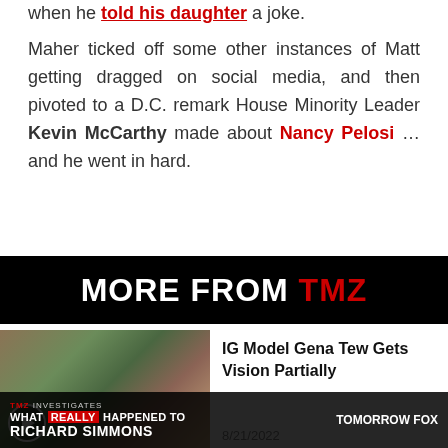when he told his daughter a joke.
Maher ticked off some other instances of Matt getting dragged on social media, and then pivoted to a D.C. remark House Minority Leader Kevin McCarthy made about Nancy Pelosi … and he went in hard.
MORE FROM TMZ
[Figure (photo): Thumbnail image of IG Model Gena Tew with a promotional overlay for TMZ Investigates: What Really Happened to Richard Simmons, Tomorrow on FOX]
IG Model Gena Tew Gets Vision Partially
8/21/2022